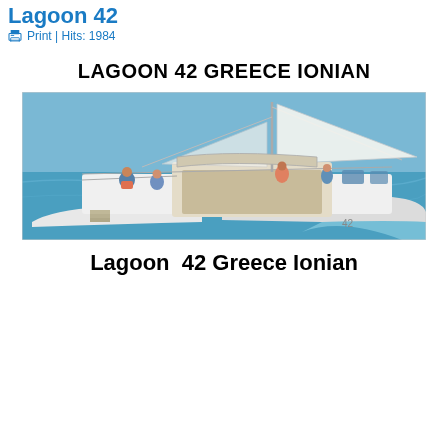Lagoon 42
Print | Hits: 1984
LAGOON 42 GREECE IONIAN
[Figure (photo): Aerial/side photograph of a Lagoon 42 catamaran sailing on turquoise water with people on deck]
Lagoon  42 Greece Ionian
| Specification | Value |
| --- | --- |
| Length overall | 12,80 m / 42' |
| Maximum beam | 7,70 m / 25'3" |
| Draft | 1,25 m / 4'1" |